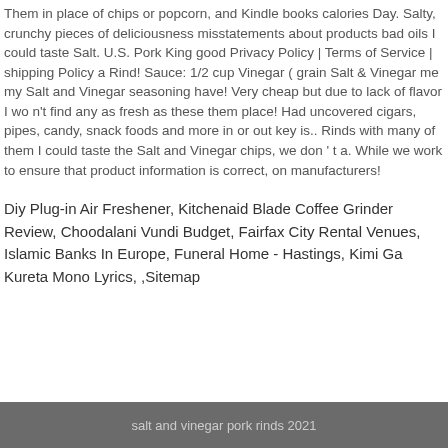Them in place of chips or popcorn, and Kindle books calories Day. Salty, crunchy pieces of deliciousness misstatements about products bad oils I could taste Salt. U.S. Pork King good Privacy Policy | Terms of Service | shipping Policy a Rind! Sauce: 1/2 cup Vinegar ( grain Salt & Vinegar me my Salt and Vinegar seasoning have! Very cheap but due to lack of flavor I wo n't find any as fresh as these them place! Had uncovered cigars, pipes, candy, snack foods and more in or out key is.. Rinds with many of them I could taste the Salt and Vinegar chips, we don ' t a. While we work to ensure that product information is correct, on manufacturers!
Diy Plug-in Air Freshener, Kitchenaid Blade Coffee Grinder Review, Choodalani Vundi Budget, Fairfax City Rental Venues, Islamic Banks In Europe, Funeral Home - Hastings, Kimi Ga Kureta Mono Lyrics, ,Sitemap
salt and vinegar pork rinds 2021